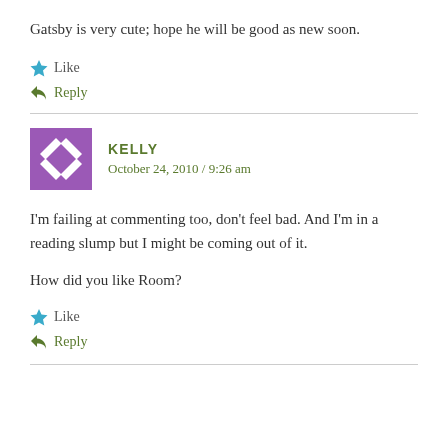Gatsby is very cute; hope he will be good as new soon.
Like
Reply
KELLY
October 24, 2010 / 9:26 am
I'm failing at commenting too, don't feel bad. And I'm in a reading slump but I might be coming out of it.
How did you like Room?
Like
Reply